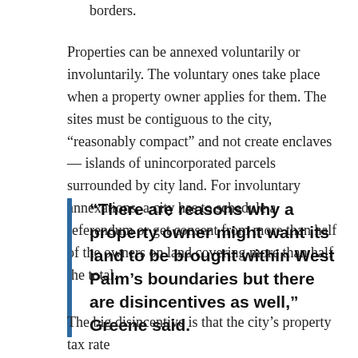borders.
Properties can be annexed voluntarily or involuntarily. The voluntary ones take place when a property owner applies for them. The sites must be contiguous to the city, “reasonably compact” and not create enclaves — islands of unincorporated parcels surrounded by city land. For involuntary annexations, a city has to schedule a referendum or get consent from more than half of the owners on land covering more than half the total.
“There are reasons why a property owner might want its land to be brought within West Palm’s boundaries but there are disincentives as well,” Greene said.
The big disincentive is that the city’s property tax rate